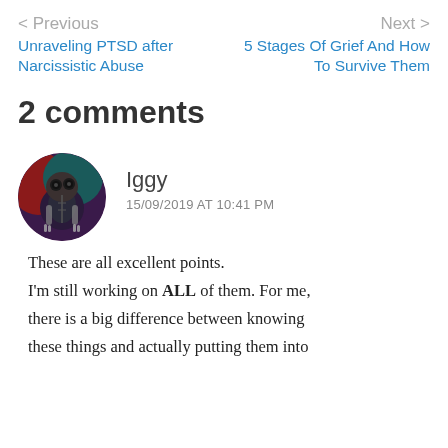< Previous
Unraveling PTSD after Narcissistic Abuse
Next >
5 Stages Of Grief And How To Survive Them
2 comments
[Figure (illustration): Circular avatar image showing a cartoon/illustrated character resembling a skeletal or stitched doll figure against a colorful dark background]
Iggy
15/09/2019 AT 10:41 PM
These are all excellent points. I'm still working on ALL of them. For me, there is a big difference between knowing these things and actually putting them into